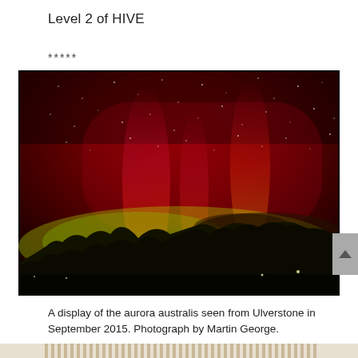Level 2 of HIVE
****
[Figure (photo): Aurora australis display photographed from Ulverstone, Tasmania in September 2015. Night sky with glowing red and yellow-green aurora pillars above dark tree silhouettes on the horizon.]
A display of the aurora australis seen from Ulverstone in September 2015. Photograph by Martin George.